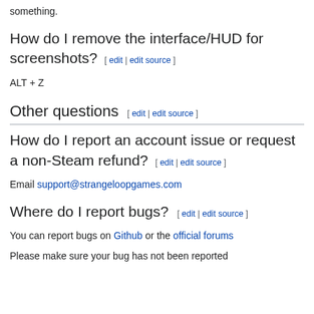something.
How do I remove the interface/HUD for screenshots?  [ edit | edit source ]
ALT + Z
Other questions  [ edit | edit source ]
How do I report an account issue or request a non-Steam refund?  [ edit | edit source ]
Email support@strangeloopgames.com
Where do I report bugs?  [ edit | edit source ]
You can report bugs on Github or the official forums
Please make sure your bug has not been reported